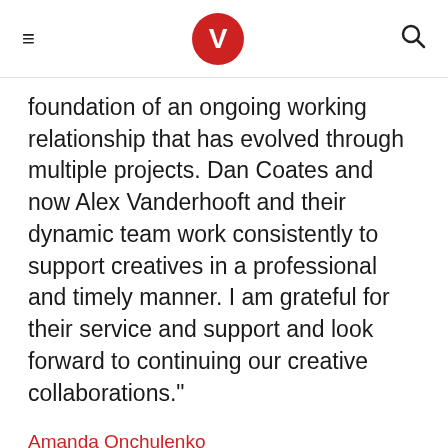≡ V Q
foundation of an ongoing working relationship that has evolved through multiple projects. Dan Coates and now Alex Vanderhooft and their dynamic team work consistently to support creatives in a professional and timely manner. I am grateful for their service and support and look forward to continuing our creative collaborations."
Amanda Onchulenko
View Amanda Onchulenko Website